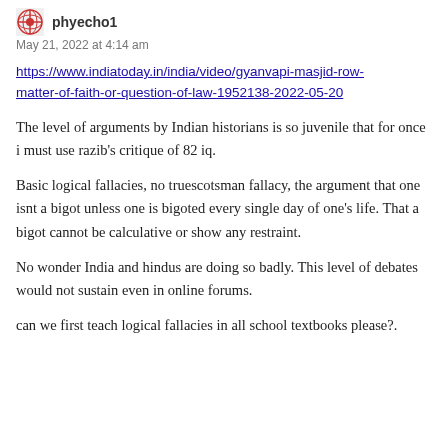phyecho1
May 21, 2022 at 4:14 am
https://www.indiatoday.in/india/video/gyanvapi-masjid-row-matter-of-faith-or-question-of-law-1952138-2022-05-20
The level of arguments by Indian historians is so juvenile that for once i must use razib's critique of 82 iq.
Basic logical fallacies, no truescotsman fallacy, the argument that one isnt a bigot unless one is bigoted every single day of one's life. That a bigot cannot be calculative or show any restraint.
No wonder India and hindus are doing so badly. This level of debates would not sustain even in online forums.
can we first teach logical fallacies in all school textbooks please?.